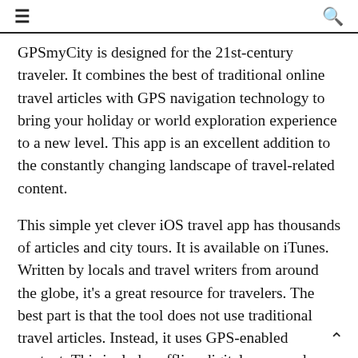≡  🔍
GPSmyCity is designed for the 21st-century traveler. It combines the best of traditional online travel articles with GPS navigation technology to bring your holiday or world exploration experience to a new level. This app is an excellent addition to the constantly changing landscape of travel-related content.
This simple yet clever iOS travel app has thousands of articles and city tours. It is available on iTunes. Written by locals and travel writers from around the globe, it's a great resource for travelers. The best part is that the tool does not use traditional travel articles. Instead, it uses GPS-enabled content. This includes offline digital maps and coordinates for the attractions suggested by the authors.
Its clever software lets users turn their favorite